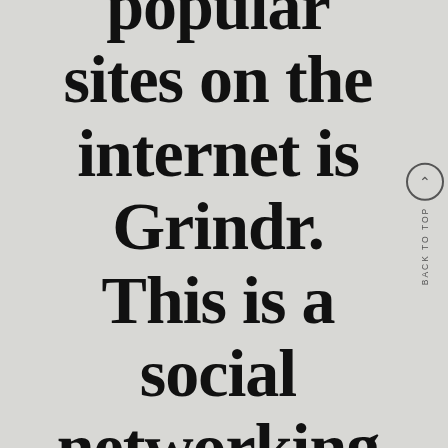popular sites on the internet is Grindr. This is a social networking internet site
BACK TO TOP